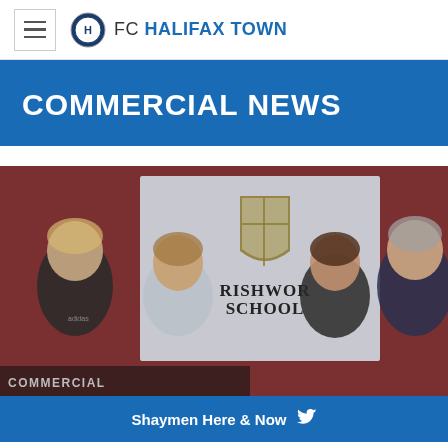FC HALIFAX TOWN
COMMERCIAL NEWS
[Figure (photo): Four people standing in front of a Rishworth School banner/sign in a room with a dark red wall. A man in a black sports top on the left, a woman next to him, a woman in a dark top third, and a man in a blazer on the right. The word COMMERCIAL is partially visible at the bottom.]
Shaymen Here & Now